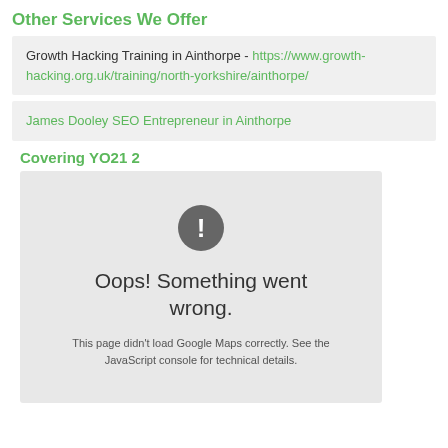Other Services We Offer
Growth Hacking Training in Ainthorpe - https://www.growth-hacking.org.uk/training/north-yorkshire/ainthorpe/
James Dooley SEO Entrepreneur in Ainthorpe
Covering YO21 2
[Figure (other): Google Maps error: Oops! Something went wrong. This page didn't load Google Maps correctly. See the JavaScript console for technical details.]